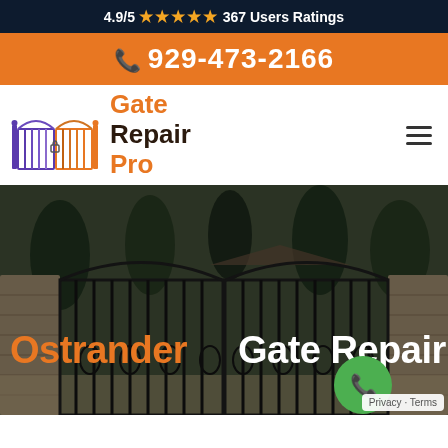4.9/5 ★★★★★ 367 Users Ratings
929-473-2166
[Figure (logo): Gate Repair Pro logo with stylized gate icon and text]
[Figure (photo): Large ornate iron double gate with stone pillars and trees in background. Text overlay reads 'Ostrander Gate Repair' with a green phone call button.]
Privacy · Terms